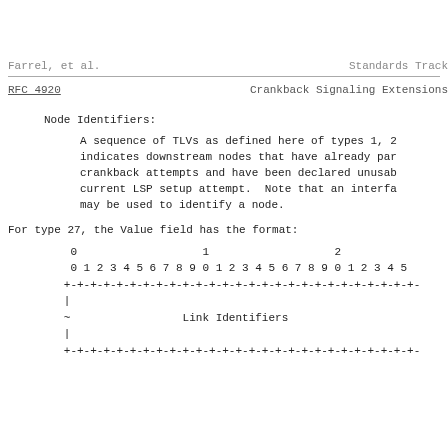Farrel, et al.                    Standards Track
RFC 4920              Crankback Signaling Extensions
Node Identifiers:
A sequence of TLVs as defined here of types 1, 2 indicates downstream nodes that have already par crankback attempts and have been declared unusab current LSP setup attempt.  Note that an interfa may be used to identify a node.
For type 27, the Value field has the format:
[Figure (schematic): Bit field diagram showing positions 0-2 (0-9 each), row of +-+-+-+... divider, pipe character, tilde with Link Identifiers label, pipe character, and another +-+-+-+... divider row]